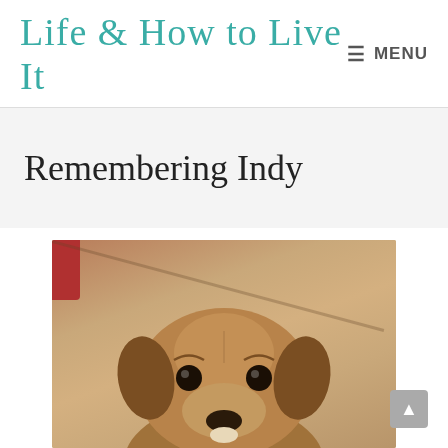Life & How to Live It — MENU
Remembering Indy
[Figure (photo): Close-up photograph of a brown dog (Indy) looking at the camera with expressive dark eyes, tan/brown fur, against a beige background with a red object visible in the upper left corner.]